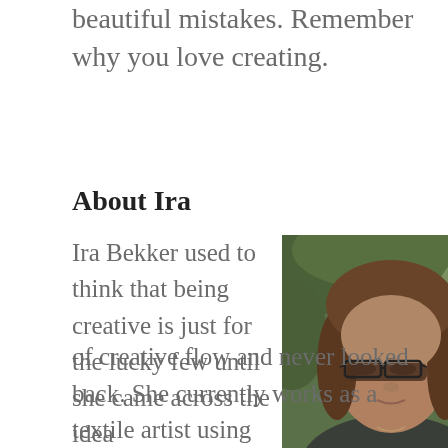beautiful mistakes. Remember why you love creating.
About Ira
[Figure (photo): Portrait photo of Ira Bekker, a woman with shoulder-length brown hair, wearing glasses and a dark jacket, photographed outdoors with green foliage in the background.]
Ira Bekker used to think that being creative is just for the lucky few until she came across the idea of creative flow and never looked back. She currently works as a textile artist using